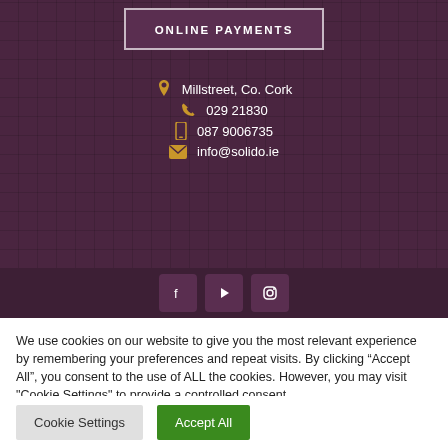[Figure (screenshot): Online Payments button with dark purple background]
Millstreet, Co. Cork
029 21830
087 9006735
info@solido.ie
[Figure (infographic): Social media icons: Facebook, YouTube, Instagram]
We use cookies on our website to give you the most relevant experience by remembering your preferences and repeat visits. By clicking “Accept All”, you consent to the use of ALL the cookies. However, you may visit "Cookie Settings" to provide a controlled consent.
Cookie Settings
Accept All